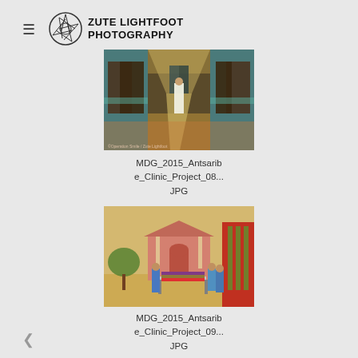ZUTE LIGHTFOOT PHOTOGRAPHY
[Figure (photo): Hospital corridor with teal walls and brown doors, a person in white standing at a door. Copyright Operation Smile / Zute Lightfoot.]
MDG_2015_Antsaribe_Clinic_Project_08...JPG
[Figure (photo): Outdoor hospital compound with a pink building, medical staff transporting a patient on a gurney with colorful blanket.]
MDG_2015_Antsaribe_Clinic_Project_09...JPG